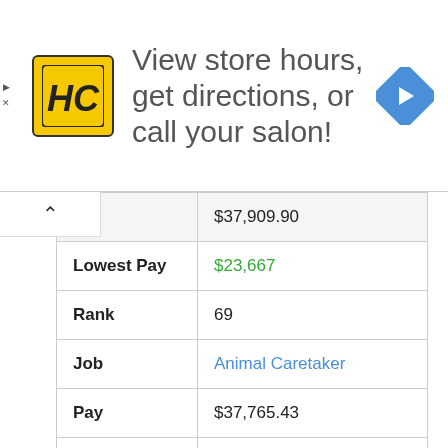[Figure (infographic): HC salon advertisement banner: HC logo (yellow square with H and C letters), text 'View store hours, get directions, or call your salon!', blue diamond navigation arrow icon on right]
| Pay | $37,909.90 |
| Lowest Pay | $23,667 |
| Rank | 69 |
| Job | Animal Caretaker |
| Pay | $37,765.43 |
| Lowest Pay | $22,164 |
| Rank | 70 |
| Job | Medical Supply Aide and Technician |